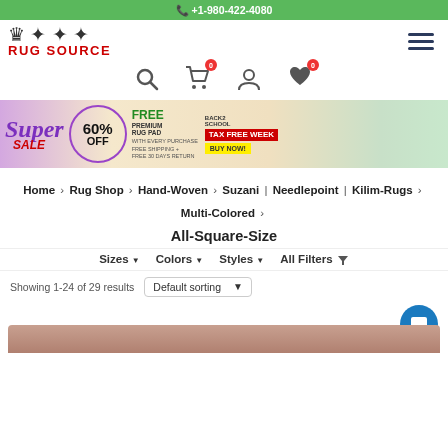+1-980-422-4080
[Figure (logo): Rug Source logo with crown and red text RUG SOURCE]
[Figure (infographic): Navigation icons: search, cart (0), user, wishlist (0)]
[Figure (infographic): Sale banner: Super SALE 60% OFF, FREE PREMIUM RUG PAD WITH EVERY PURCHASE, FREE SHIPPING + FREE 30 DAYS RETURN, BACK2SCHOOL TAX FREE WEEK BUY NOW!]
Home > Rug Shop > Hand-Woven > Suzani | Needlepoint | Kilim-Rugs > Multi-Colored >
All-Square-Size
Sizes  Colors  Styles  All Filters
Showing 1-24 of 29 results  Default sorting
[Figure (photo): Partial view of a rug product at bottom of page]